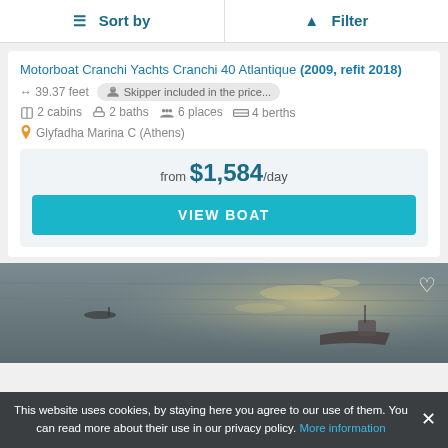Sort by | Filter
Motorboat Cranchi Yachts Cranchi 40 Atlantique (2009, refit 2018)
39.37 feet   Skipper included in the price...
2 cabins   2 baths   6 places   4 berths
Glyfadha Marina C (Athens)
from $1,584/day
VIEW BOAT
[Figure (photo): Aerial or distant view of a motorboat on open water with sunlight reflecting off the sea surface]
This website uses cookies, by staying here you agree to our use of them. You can read more about their use in our privacy policy. More information